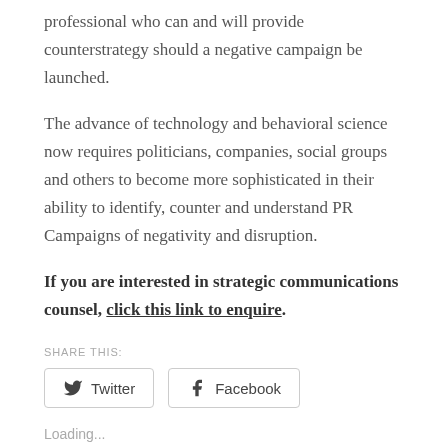professional who can and will provide counterstrategy should a negative campaign be launched.
The advance of technology and behavioral science now requires politicians, companies, social groups and others to become more sophisticated in their ability to identify, counter and understand PR Campaigns of negativity and disruption.
If you are interested in strategic communications counsel, click this link to enquire.
SHARE THIS:
Twitter  Facebook
Loading...